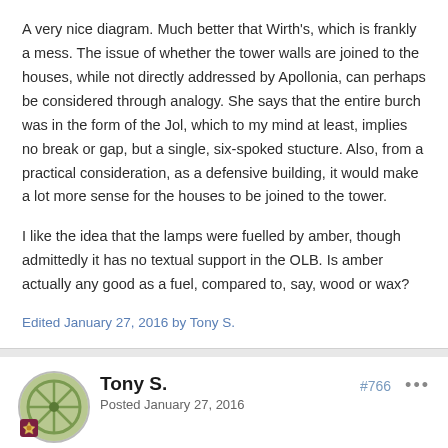A very nice diagram. Much better that Wirth's, which is frankly a mess. The issue of whether the tower walls are joined to the houses, while not directly addressed by Apollonia, can perhaps be considered through analogy. She says that the entire burch was in the form of the Jol, which to my mind at least, implies no break or gap, but a single, six-spoked stucture. Also, from a practical consideration, as a defensive building, it would make a lot more sense for the houses to be joined to the tower.
I like the idea that the lamps were fuelled by amber, though admittedly it has no textual support in the OLB. Is amber actually any good as a fuel, compared to, say, wood or wax?
Edited January 27, 2016 by Tony S.
Tony S.
Posted January 27, 2016
#766
On 1/27/2016 at 3:16 PM, FromFinland said: